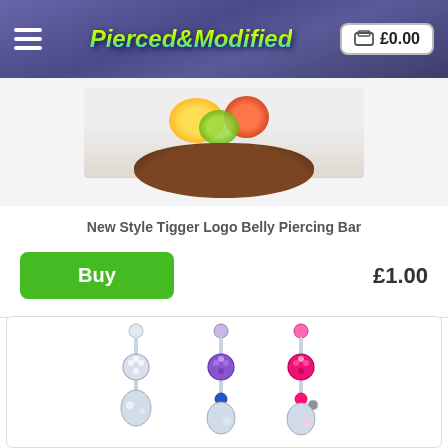Pierced & Modified — £0.00
[Figure (photo): Product photo of New Style Tigger Logo Belly Piercing Bar showing a bowl with colorful fruits]
New Style Tigger Logo Belly Piercing Bar
Buy   £1.00
[Figure (photo): Three belly piercing bars with crystal gems — clear/white, purple, and pink — with decorative mermaid/seahorse pendants]